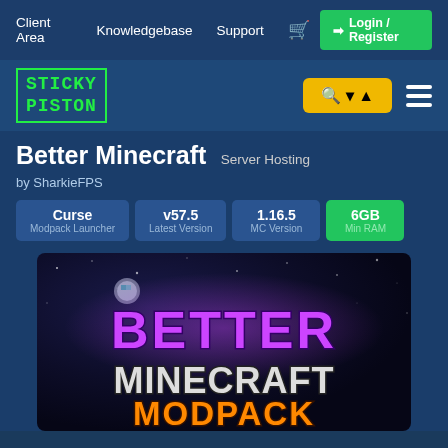Client Area   Knowledgebase   Support   Login / Register
[Figure (logo): Sticky Piston logo in green monospace font with border]
Better Minecraft Server Hosting
by SharkieFPS
Curse Modpack Launcher | v57.5 Latest Version | 1.16.5 MC Version | 6GB Min RAM
[Figure (photo): Better Minecraft Modpack banner image with purple BETTER text, white MINECRAFT text, and orange MODPACK text on dark space background]